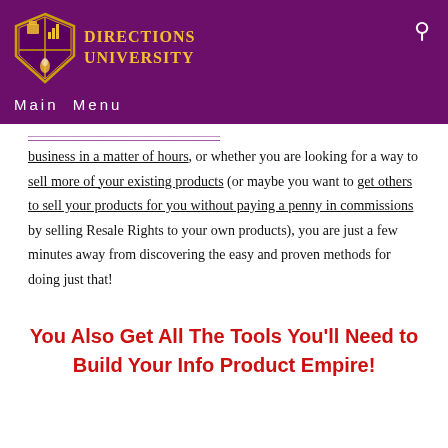Directions University
business in a matter of hours, or whether you are looking for a way to sell more of your existing products (or maybe you want to get others to sell your products for you without paying a penny in commissions by selling Resale Rights to your own products), you are just a few minutes away from discovering the easy and proven methods for doing just that!
You Also Get All The Tools You'll Need to Build Your Info Product Empire!